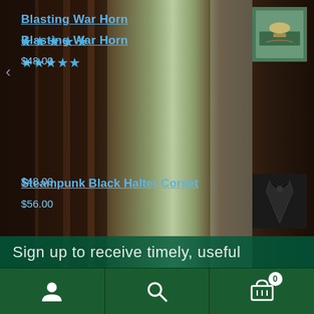Blasting War Horn
★★★★★
$48.00
[Figure (photo): Thumbnail of Blasting War Horn product]
Steampunk Black Halter Corset
$56.00
[Figure (photo): Thumbnail of Steampunk Black Halter Corset product]
Stainless Steel Axe Pendant
$20.00 $16.00
[Figure (photo): Thumbnail of Stainless Steel Axe Pendant product]
Join Our Newsletter
Sign up to receive timely, useful
User icon | Search icon | Cart (0)